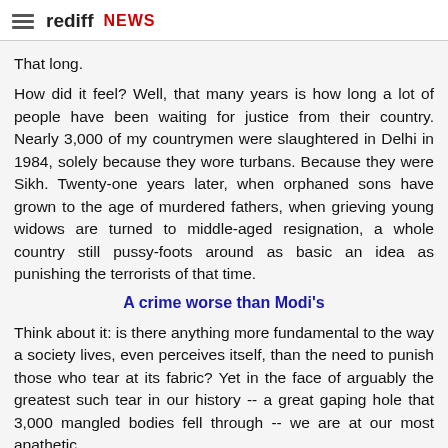rediff NEWS
That long.
How did it feel? Well, that many years is how long a lot of people have been waiting for justice from their country. Nearly 3,000 of my countrymen were slaughtered in Delhi in 1984, solely because they wore turbans. Because they were Sikh. Twenty-one years later, when orphaned sons have grown to the age of murdered fathers, when grieving young widows are turned to middle-aged resignation, a whole country still pussy-foots around as basic an idea as punishing the terrorists of that time.
A crime worse than Modi's
Think about it: is there anything more fundamental to the way a society lives, even perceives itself, than the need to punish those who tear at its fabric? Yet in the face of arguably the greatest such tear in our history -- a great gaping hole that 3,000 mangled bodies fell through -- we are at our most apathetic.